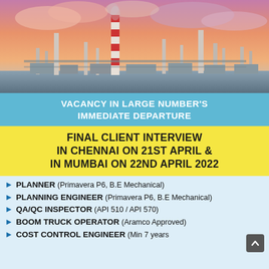[Figure (photo): Industrial oil refinery or petrochemical plant with tall chimneys/stacks against a pink/orange sunset sky]
VACANCY IN LARGE NUMBER'S IMMEDIATE DEPARTURE
FINAL CLIENT INTERVIEW IN CHENNAI ON 21ST APRIL & IN MUMBAI ON 22ND APRIL 2022
PLANNER (Primavera P6, B.E Mechanical)
PLANNING ENGINEER (Primavera P6, B.E Mechanical)
QA/QC INSPECTOR (API 510 / API 570)
BOOM TRUCK OPERATOR (Aramco Approved)
COST CONTROL ENGINEER (Min 7 years